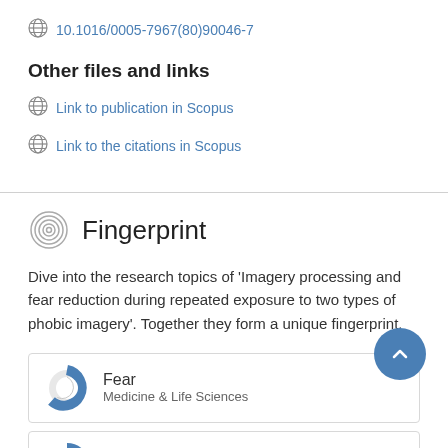10.1016/0005-7967(80)90046-7
Other files and links
Link to publication in Scopus
Link to the citations in Scopus
Fingerprint
Dive into the research topics of 'Imagery processing and fear reduction during repeated exposure to two types of phobic imagery'. Together they form a unique fingerprint.
[Figure (donut-chart): Donut chart for Fear, Medicine & Life Sciences category]
[Figure (donut-chart): Donut chart for Heart Rate category]